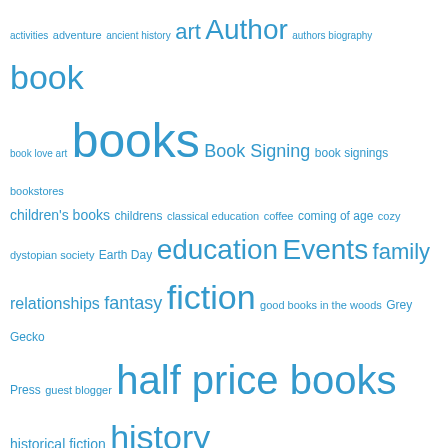[Figure (infographic): Tag cloud of book/reading related topics in various font sizes, all in blue. Larger tags include: books, fiction, reviews, homeschooling, half price books, picture books, history, education, Events, series, kids. Smaller tags include: activities, adventure, ancient history, art, Author, authors biography, book, book love art, Book Signing, book signings, bookstores, children's books, childrens, classical education, coffee, coming of age, cozy, dystopian society, Earth Day, family relationships, fantasy, good books in the woods, Grey Gecko Press, guest blogger, historical fiction, HPB, Humble Book Club, Humble, illustrations, Interview, journaling, kids books, life lists, literature, love, Magic Tree House, Magic Tree House Adventures, memoir, memoirs, murder, music, mystery, nature photography, poetry, reading, reading life, religion, review, romance, S. Smith, science, science fiction, Seed Savers, Short Stories, social commentary, story time, Texas, Tidbits from Miss Golightly, toddlers.]